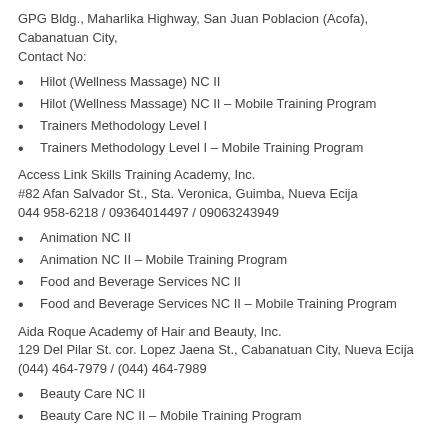GPG Bldg., Maharlika Highway, San Juan Poblacion (Acofa), Cabanatuan City,
Contact No:
Hilot (Wellness Massage) NC II
Hilot (Wellness Massage) NC II – Mobile Training Program
Trainers Methodology Level I
Trainers Methodology Level I – Mobile Training Program
Access Link Skills Training Academy, Inc.
#82 Afan Salvador St., Sta. Veronica, Guimba, Nueva Ecija
044 958-6218 / 09364014497 / 09063243949
Animation NC II
Animation NC II – Mobile Training Program
Food and Beverage Services NC II
Food and Beverage Services NC II – Mobile Training Program
Aida Roque Academy of Hair and Beauty, Inc.
129 Del Pilar St. cor. Lopez Jaena St., Cabanatuan City, Nueva Ecija
(044) 464-7979 / (044) 464-7989
Beauty Care NC II
Beauty Care NC II – Mobile Training Program